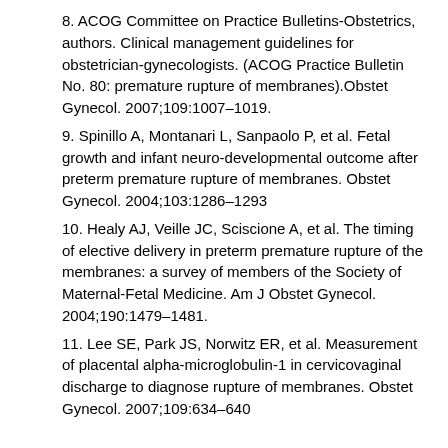8. ACOG Committee on Practice Bulletins-Obstetrics, authors. Clinical management guidelines for obstetrician-gynecologists. (ACOG Practice Bulletin No. 80: premature rupture of membranes).Obstet Gynecol. 2007;109:1007–1019.
9. Spinillo A, Montanari L, Sanpaolo P, et al. Fetal growth and infant neuro-developmental outcome after preterm premature rupture of membranes. Obstet Gynecol. 2004;103:1286–1293
10. Healy AJ, Veille JC, Sciscione A, et al. The timing of elective delivery in preterm premature rupture of the membranes: a survey of members of the Society of Maternal-Fetal Medicine. Am J Obstet Gynecol. 2004;190:1479–1481.
11. Lee SE, Park JS, Norwitz ER, et al. Measurement of placental alpha-microglobulin-1 in cervicovaginal discharge to diagnose rupture of membranes. Obstet Gynecol. 2007;109:634–640